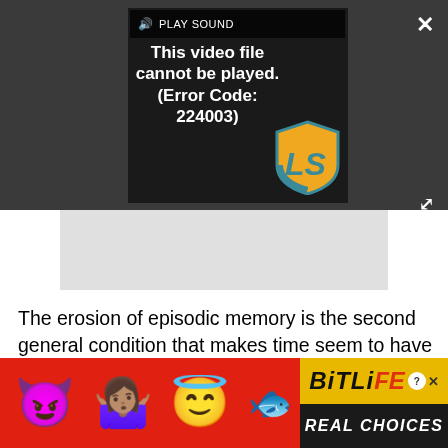[Figure (screenshot): Video player showing error message 'This video file cannot be played. (Error Code: 224003)' with play sound icon, LS logo overlay, close X button, and expand arrows on dark background]
The erosion of episodic memory is the second general condition that makes time seem to have passed by quickly. This is something that affects all of us, all of the time. Our memories of the routine events that fill our days fade with time. What did you do on the 17th of last month? Unless it was a special occasion, you've probably forgotten the experiences
[Figure (screenshot): BitLife advertisement banner with devil emoji, person shrugging emoji, angel emoji, sperm emoji, BitLife logo in yellow, and 'REAL CHOICES' text on red background]